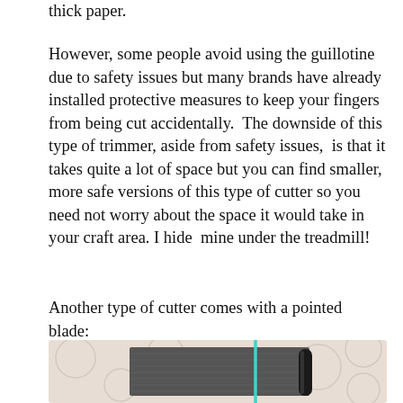thick paper.
However, some people avoid using the guillotine due to safety issues but many brands have already installed protective measures to keep your fingers from being cut accidentally.  The downside of this type of trimmer, aside from safety issues,  is that it takes quite a lot of space but you can find smaller, more safe versions of this type of cutter so you need not worry about the space it would take in your craft area. I hide  mine under the treadmill!
Another type of cutter comes with a pointed blade:
[Figure (photo): Close-up photo of a paper trimmer/cutter with a dark grey body and a teal/cyan blade guide, resting on a light patterned surface.]